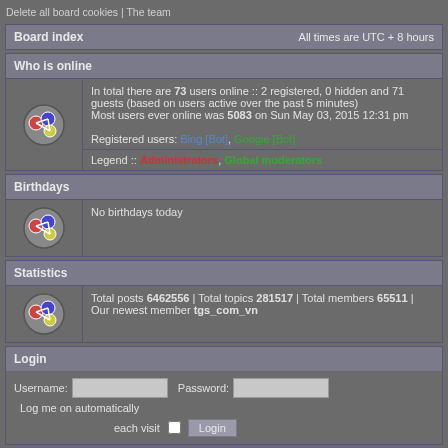Delete all board cookies | The team
Board index    All times are UTC + 8 hours
Who is online
In total there are 73 users online :: 2 registered, 0 hidden and 71 guests (based on users active over the past 5 minutes)
Most users ever online was 5083 on Sun May 03, 2015 12:31 pm
Registered users: Bing [Bot], Google [Bot]
Legend :: Administrators, Global moderators
Birthdays
No birthdays today
Statistics
Total posts 6462556 | Total topics 281517 | Total members 65511 | Our newest member tgs_com_vn
Login
Username:   Password:   Log me on automatically each visit   Login